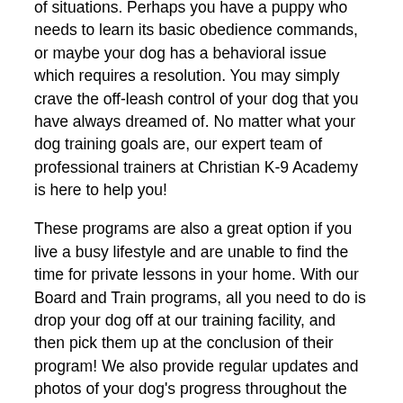of situations. Perhaps you have a puppy who needs to learn its basic obedience commands, or maybe your dog has a behavioral issue which requires a resolution. You may simply crave the off-leash control of your dog that you have always dreamed of. No matter what your dog training goals are, our expert team of professional trainers at Christian K-9 Academy is here to help you!
These programs are also a great option if you live a busy lifestyle and are unable to find the time for private lessons in your home. With our Board and Train programs, all you need to do is drop your dog off at our training facility, and then pick them up at the conclusion of their program! We also provide regular updates and photos of your dog's progress throughout the duration of their stay with us.